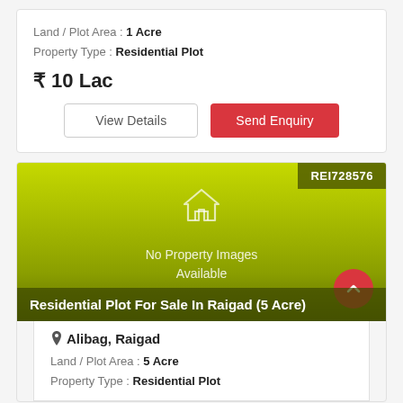Land / Plot Area : 1 Acre
Property Type : Residential Plot
₹ 10 Lac
View Details
Send Enquiry
[Figure (photo): Property listing image placeholder with lime green gradient background, house icon, 'No Property Images Available' text, REI728576 badge top right, red scroll-up button bottom right, and listing title overlay at bottom.]
REI728576
No Property Images Available
Residential Plot For Sale In Raigad (5 Acre)
Alibag, Raigad
Land / Plot Area : 5 Acre
Property Type : Residential Plot